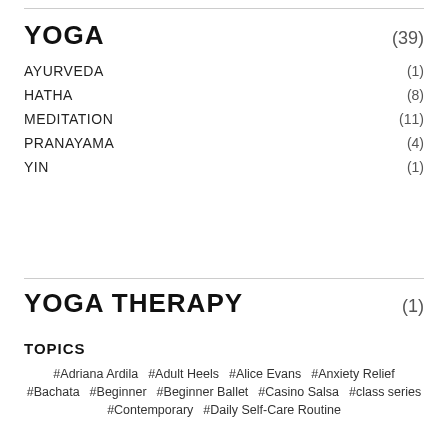YOGA (39)
AYURVEDA (1)
HATHA (8)
MEDITATION (11)
PRANAYAMA (4)
YIN (1)
YOGA THERAPY (1)
TOPICS
#Adriana Ardila  #Adult Heels  #Alice Evans  #Anxiety Relief  #Bachata  #Beginner  #Beginner Ballet  #Casino Salsa  #class series  #Contemporary  #Daily Self-Care Routine